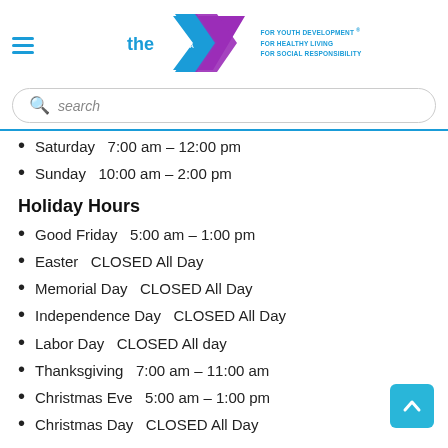YMCA logo header with navigation
[Figure (logo): YMCA logo with 'the Y' text and chevron shape in blue and purple, with tagline FOR YOUTH DEVELOPMENT, FOR HEALTHY LIVING, FOR SOCIAL RESPONSIBILITY]
search
Saturday   7:00 am – 12:00 pm
Sunday   10:00 am – 2:00 pm
Holiday Hours
Good Friday   5:00 am – 1:00 pm
Easter   CLOSED All Day
Memorial Day   CLOSED All Day
Independence Day   CLOSED All Day
Labor Day   CLOSED All day
Thanksgiving   7:00 am – 11:00 am
Christmas Eve   5:00 am – 1:00 pm
Christmas Day   CLOSED All Day
New Year's Eve   5:00 am – 5:00 pm
New Year's Day   CLOSED All Day